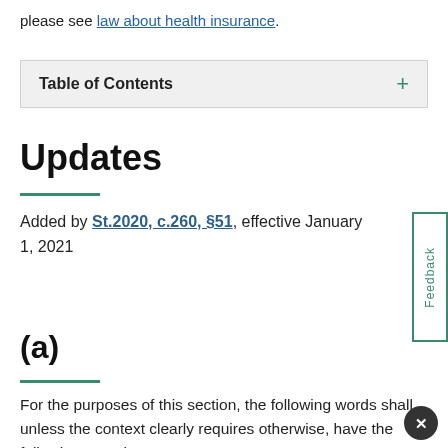please see law about health insurance.
Table of Contents
Updates
Added by St.2020, c.260, §51, effective January 1, 2021
(a)
For the purposes of this section, the following words shall, unless the context clearly requires otherwise, have the following meanings: